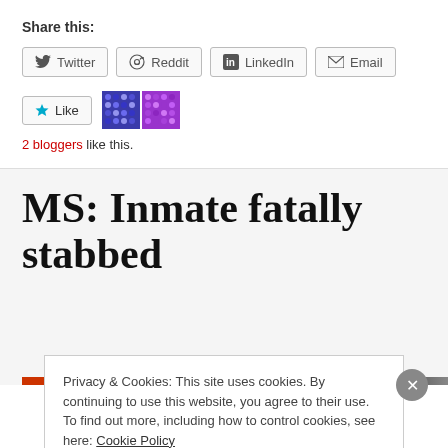Share this:
Twitter  Reddit  LinkedIn  Email
Like  2 bloggers like this.
MS: Inmate fatally stabbed
Privacy & Cookies: This site uses cookies. By continuing to use this website, you agree to their use.
To find out more, including how to control cookies, see here: Cookie Policy
Close and accept